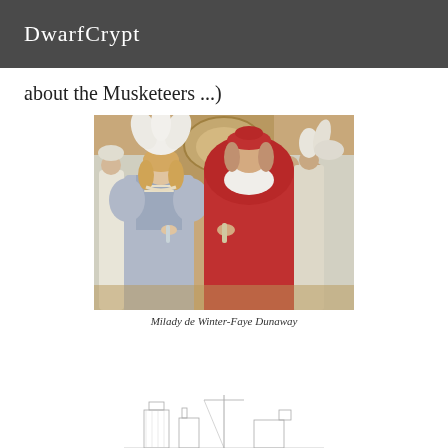DwarfCrypt
about the Musketeers ...)
[Figure (photo): Scene from a Musketeers film showing a woman in an ornate silver/blue period costume with feathered headdress (Milady de Winter played by Faye Dunaway) facing a man dressed as a Cardinal in red robes, with other costumed characters in white in the background of an elaborate ballroom setting.]
Milady de Winter-Faye Dunaway
[Figure (illustration): Partial sketch/illustration of a cityscape or architectural scene visible at the very bottom of the page.]